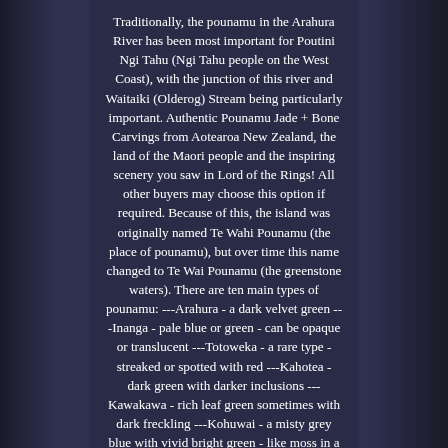Traditionally, the pounamu in the Arahura River has been most important for Poutini Ngi Tahu (Ngi Tahu people on the West Coast), with the junction of this river and Waitaiki (Olderog) Stream being particularly important. Authentic Pounamu Jade + Bone Carvings from Aotearoa New Zealand, the land of the Maori people and the inspiring scenery you saw in Lord of the Rings! All other buyers may choose this option if required. Because of this, the island was originally named Te Wahi Pounamu (the place of pounamu), but over time this name changed to Te Wai Pounamu (the greenstone waters). There are ten main types of pounamu: ---Arahura - a dark velvet green ---Inanga - pale blue or green - can be opaque or translucent ---Totoweka - a rare type - streaked or spotted with red ---Kahotea - dark green with darker inclusions ---Kawakawa - rich leaf green sometimes with dark freckling ---Kohuwai - a misty grey blue with vivid bright green - like moss in a stream.
--Kokopu - sometimes called troutstone - silver or